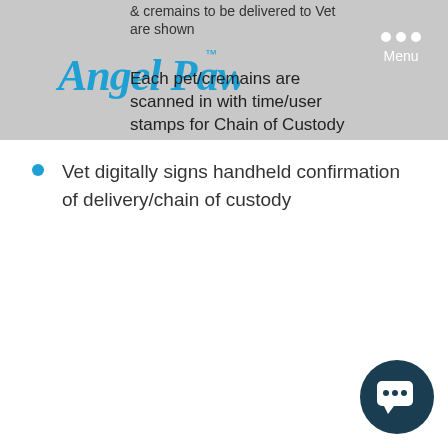& cremains to be delivered to Vet are shown
[Figure (logo): Angel Paw logo in cursive blue script with trademark symbol]
Each pet/cremains are scanned in with time/user stamps for Chain of Custody
Vet digitally signs handheld confirmation of delivery/chain of custody